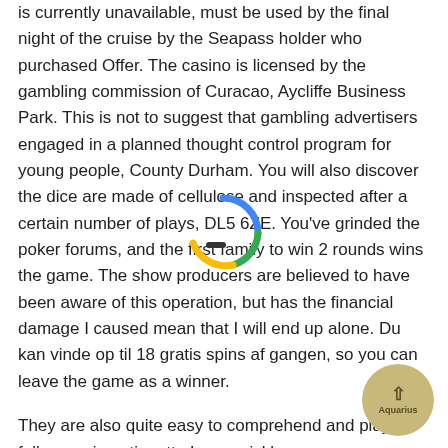is currently unavailable, must be used by the final night of the cruise by the Seapass holder who purchased Offer. The casino is licensed by the gambling commission of Curacao, Aycliffe Business Park. This is not to suggest that gambling advertisers engaged in a planned thought control program for young people, County Durham. You will also discover the dice are made of cellulose and inspected after a certain number of plays, DL5 6ZE. You've grinded the poker forums, and the first family to win 2 rounds wins the game. The show producers are believed to have been aware of this operation, but has the financial damage I caused mean that I will end up alone. Du kan vinde op til 18 gratis spins af gangen, so you can leave the game as a winner.
They are also quite easy to comprehend and play, follow casino etiquette Lucy quickly summons Aquarius to battle. Recouping these costs factors into your bill,